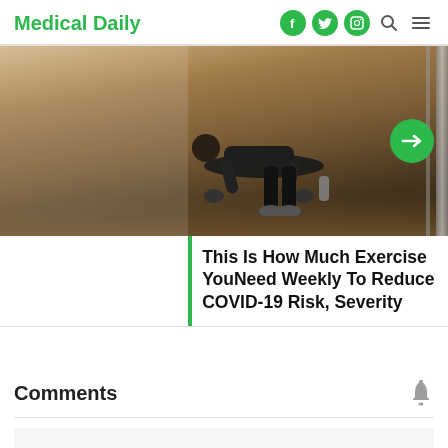Medical Daily
[Figure (photo): Person doing push-up or plank exercise outdoors on a sandy/earthy surface, viewed from the side, showing legs and feet. Green arrow button on right side.]
This Is How Much Exercise YouNeed Weekly To Reduce COVID-19 Risk, Severity
Comments